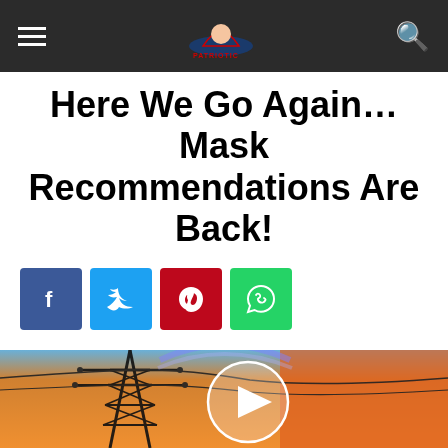Patriotic Neighbor navigation bar
Here We Go Again…Mask Recommendations Are Back!
[Figure (other): Social media share buttons: Facebook (blue), Twitter (light blue), Pinterest (red), WhatsApp (green)]
[Figure (photo): Video thumbnail showing an electrical power transmission tower against a dramatic orange and blue sunset sky, with a white circular play button overlay in the center]